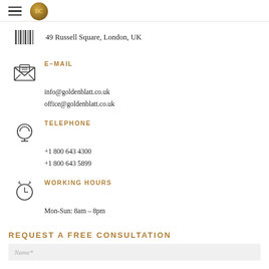Navigation header with hamburger menu and logo
49 Russell Square, London, UK
E-MAIL
info@goldenblatt.co.uk
office@goldenblatt.co.uk
TELEPHONE
+1 800 643 4300
+1 800 643 5899
WORKING HOURS
Mon-Sun: 8am – 8pm
REQUEST A FREE CONSULTATION
Name*